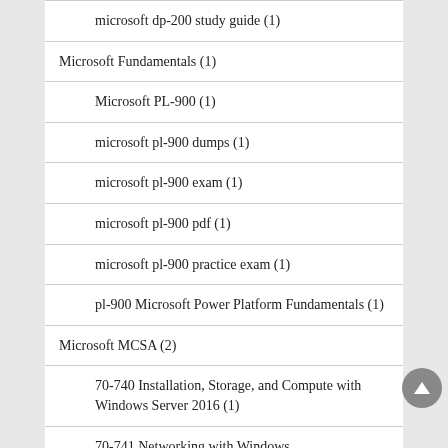microsoft dp-200 study guide (1)
Microsoft Fundamentals (1)
Microsoft PL-900 (1)
microsoft pl-900 dumps (1)
microsoft pl-900 exam (1)
microsoft pl-900 pdf (1)
microsoft pl-900 practice exam (1)
pl-900 Microsoft Power Platform Fundamentals (1)
Microsoft MCSA (2)
70-740 Installation, Storage, and Compute with Windows Server 2016 (1)
70-741 Networking with Windows